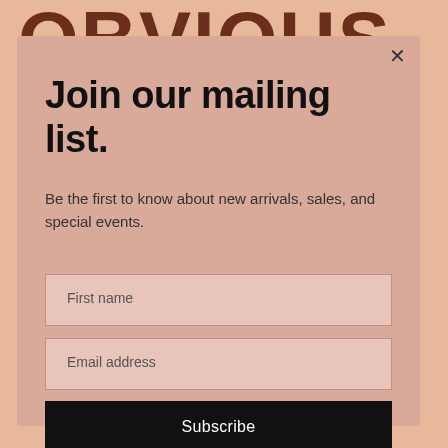OBVIOUS
Join our mailing list.
Be the first to know about new arrivals, sales, and special events.
First name
Email address
Subscribe